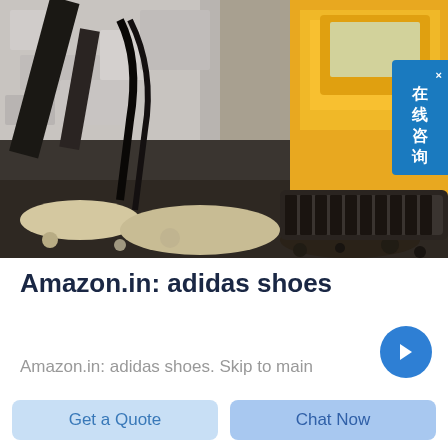[Figure (photo): Construction site photograph showing a large yellow drilling or excavation machine on rocky terrain with dark gravel and crushed stone ground surface.]
Amazon.in: adidas shoes
Amazon.in: adidas shoes. Skip to main
Get a Quote
Chat Now